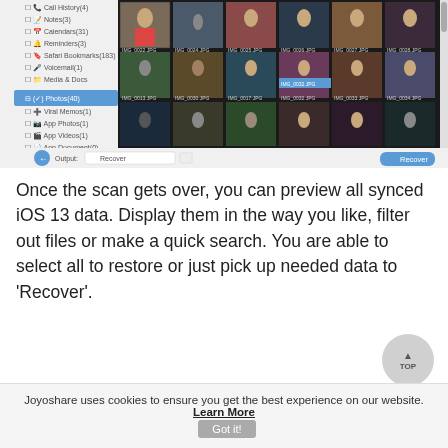[Figure (screenshot): Screenshot of a data recovery software interface showing a sidebar with categories (Call History, Notes, Calendars, Reminders, Safari Bookmarks, Voicemail, Media & Docs, Photos(40), Viral Memes, App Photos, App Videos, App Document) and a photo grid of recovered iPhone photos (IMG_0022.JPG through IMG_0038.JPG) with a Recover button at the bottom right and Output field at bottom left.]
Once the scan gets over, you can preview all synced iOS 13 data. Display them in the way you like, filter out files or make a quick search. You are able to select all to restore or just pick up needed data to 'Recover'.
Joyoshare uses cookies to ensure you get the best experience on our website. Learn More  Got it!